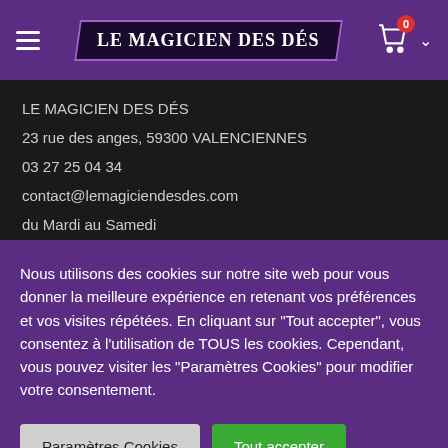LE MAGICIEN DES DÉS — navigation header with hamburger menu, logo, cart icon (0 items), chevron
LE MAGICIEN DES DÉS
23 rue des anges, 59300 VALENCIENNES
03 27 25 04 34
contact@lemagiciendesdes.com
du Mardi au Samedi
de 10h à 13h et de 14h à 19h
Nous utilisons des cookies sur notre site web pour vous donner la meilleure expérience en retenant vos préférences et vos visites répétées. En cliquant sur "Tout accepter", vous consentez à l'utilisation de TOUS les cookies. Cependant, vous pouvez visiter les "Paramètres Cookies" pour modifier votre consentement.
Paramètres Cookies
Tout accepter